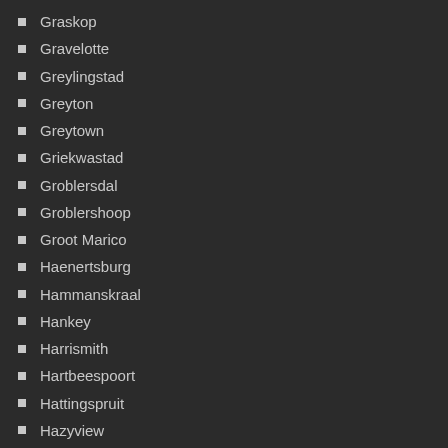Graskop
Gravelotte
Greylingstad
Greyton
Greytown
Griekwastad
Groblersdal
Groblershoop
Groot Marico
Haenertsburg
Hammanskraal
Hankey
Harrismith
Hartbeespoort
Hattingspruit
Hazyview
Hectorspruit
Heidelberg
Heilbron
Henley on Klip
Hennenman